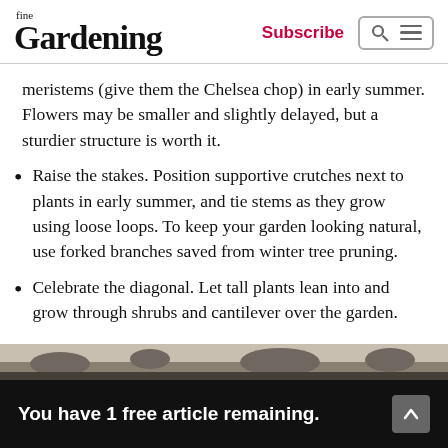fine Gardening | Subscribe
meristems (give them the Chelsea chop) in early summer. Flowers may be smaller and slightly delayed, but a sturdier structure is worth it.
Raise the stakes. Position supportive crutches next to plants in early summer, and tie stems as they grow using loose loops. To keep your garden looking natural, use forked branches saved from winter tree pruning.
Celebrate the diagonal. Let tall plants lean into and grow through shrubs and cantilever over the garden.
You have 1 free article remaining.